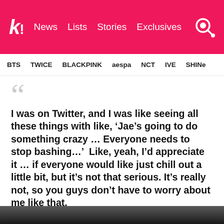Koreaboo — News | Lists | Stories | Exclusives
BTS   TWICE   BLACKPINK   aespa   NCT   IVE   SHINee
“I was on Twitter, and I was like seeing all these things with like, ‘Jae’s going to do something crazy … Everyone needs to stop bashing…’  Like, yeah, I’d appreciate it … if everyone would like just chill out a little bit, but it’s not that serious. It’s really not, so you guys don’t have to worry about me like that.”
— Jae
[Figure (photo): Bottom edge of a photo, showing the top of a person's head or dark background, partially visible at the bottom of the page.]